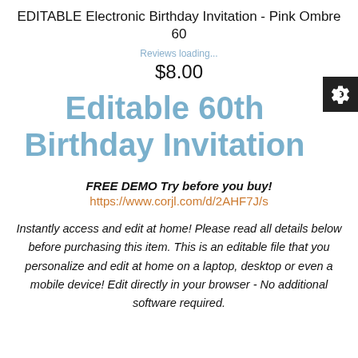EDITABLE Electronic Birthday Invitation - Pink Ombre 60
Reviews loading...
$8.00
Editable 60th Birthday Invitation
FREE DEMO Try before you buy!
https://www.corjl.com/d/2AHF7J/s
Instantly access and edit at home! Please read all details below before purchasing this item. This is an editable file that you personalize and edit at home on a laptop, desktop or even a mobile device! Edit directly in your browser - No additional software required.